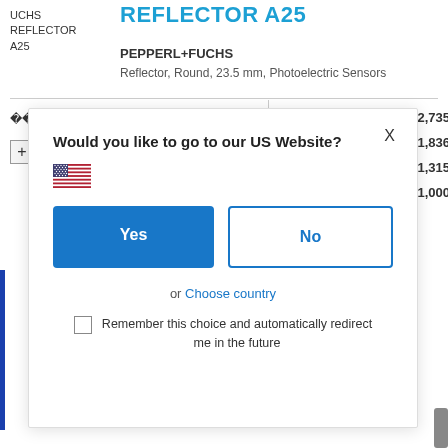UCHS REFLECTOR A25
REFLECTOR A25
PEPPERL+FUCHS
Reflector, Round, 23.5 mm, Photoelectric Sensors
| Qty | Price |
| --- | --- |
| 1+ | ₩12,735 |
| 5+ | ₩11,836 |
| 10+ | ₩11,315 |
| 20+ | ₩11,000 |
[Figure (screenshot): Modal dialog: Would you like to go to our US Website? with Yes and No buttons, US flag, or Choose country link, and Remember this choice checkbox.]
Would you like to go to our US Website?
Yes
No
or Choose country
Remember this choice and automatically redirect me in the future